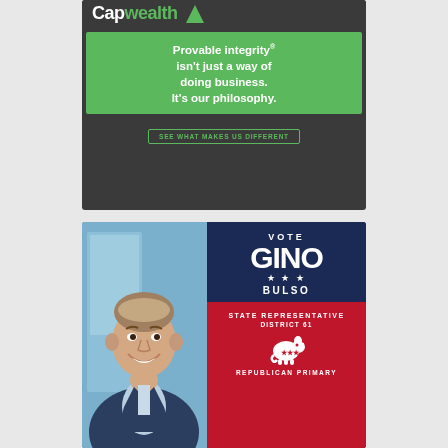[Figure (illustration): CapWealth advertisement with dark background. Header shows 'CapWealth' logo. Green box contains text 'Provable integrity® isn't just a way of doing business. It's our philosophy.' Button reads 'SEE WHAT MAKES US DIFFERENT'.]
[Figure (illustration): Political campaign ad for Gino Bulso. Left side shows photo of smiling middle-aged man in suit. Right side has dark navy background with text 'VOTE GINO BULSO' and red section reading 'STATE REPRESENTATIVE DISTRICT 61' with Republican elephant logo and 'REPUBLICAN PRIMARY'.]